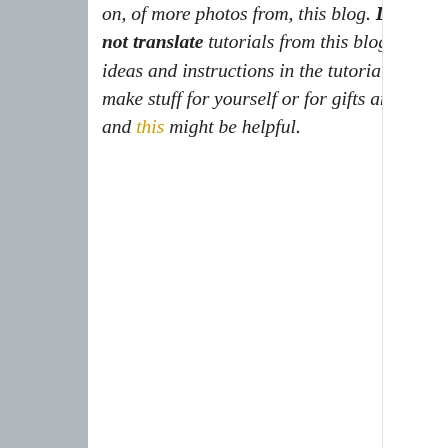on, of more photos from, this blog. Do not post my tutorials on your sites. Do not translate tutorials from this blog into other languages on your site. The ideas and instructions in the tutorials are free - but please use them to only make stuff for yourself or for gifts and not to sell. Ta! For more information, this and this might be helpful.
TRANSLATE
This website uses cookies to ensure you get the best experience on our website.
Learn more
Got it!